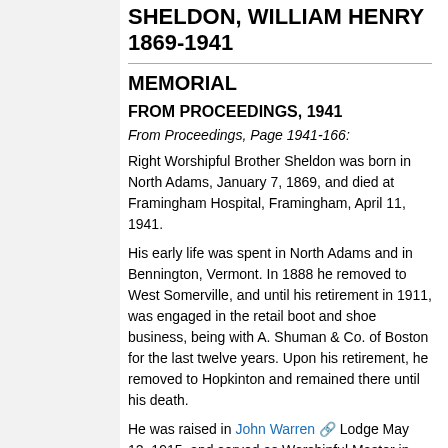SHELDON, WILLIAM HENRY 1869-1941
MEMORIAL
FROM PROCEEDINGS, 1941
From Proceedings, Page 1941-166:
Right Worshipful Brother Sheldon was born in North Adams, January 7, 1869, and died at Framingham Hospital, Framingham, April 11, 1941.
His early life was spent in North Adams and in Bennington, Vermont. In 1888 he removed to West Somerville, and until his retirement in 1911, was engaged in the retail boot and shoe business, being with A. Shuman & Co. of Boston for the last twelve years. Upon his retirement, he removed to Hopkinton and remained there until his death.
He was raised in John Warren Lodge May 12, 1915, and served as Worshipful Master in 1926 and 1927. In 1938 he was elected an